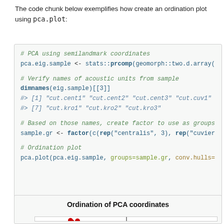The code chunk below exemplifies how create an ordination plot using pca.plot:
# PCA using semilandmark coordinates
pca.eig.sample <- stats::prcomp(geomorph::two.d.array(

# Verify names of acoustic units from sample
dimnames(eig.sample)[[3]]
#> [1] "cut.cent1" "cut.cent2" "cut.cent3" "cut.cuv1"
#> [7] "cut.kro1"  "cut.kro2"  "cut.kro3"

# Based on those names, create factor to use as groups
sample.gr <- factor(c(rep("centralis", 3), rep("cuvier

# Ordination plot
pca.plot(pca.eig.sample, groups=sample.gr, conv.hulls=
[Figure (other): Partial ordination plot titled 'Ordination of PCA coordinates' showing red dots and a dashed vertical line, cut off at bottom of page]